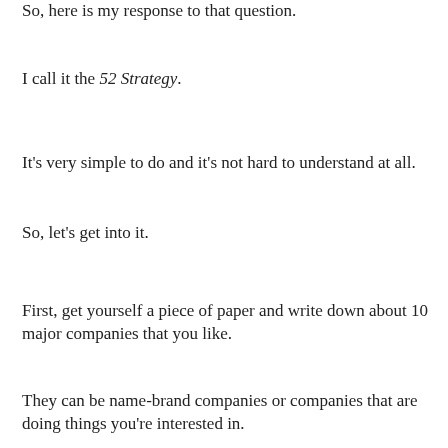So, here is my response to that question.
I call it the 52 Strategy.
It's very simple to do and it's not hard to understand at all.
So, let's get into it.
First, get yourself a piece of paper and write down about 10 major companies that you like.
They can be name-brand companies or companies that are doing things you're interested in.